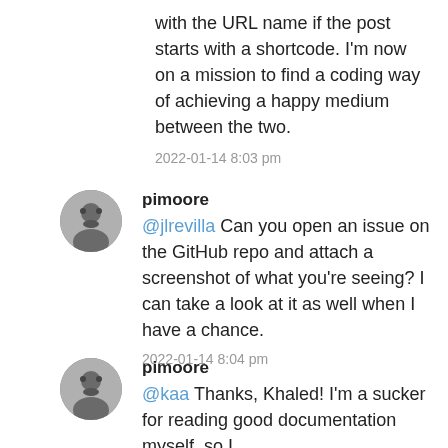with the URL name if the post starts with a shortcode. I'm now on a mission to find a coding way of achieving a happy medium between the two.
2022-01-14 8:03 pm
pimoore
@jlrevilla Can you open an issue on the GitHub repo and attach a screenshot of what you're seeing? I can take a look at it as well when I have a chance.
2022-01-14 8:04 pm
pimoore
@kaa Thanks, Khaled! I'm a sucker for reading good documentation myself, so I